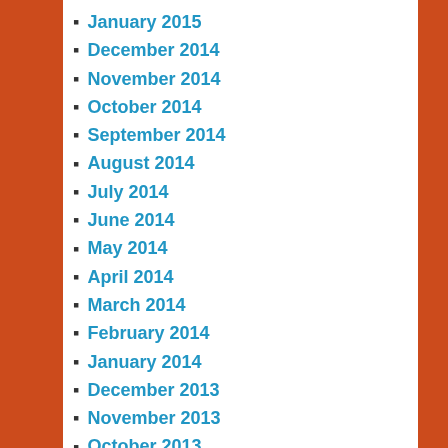January 2015
December 2014
November 2014
October 2014
September 2014
August 2014
July 2014
June 2014
May 2014
April 2014
March 2014
February 2014
January 2014
December 2013
November 2013
October 2013
September 2013
August 2013
META
Log in